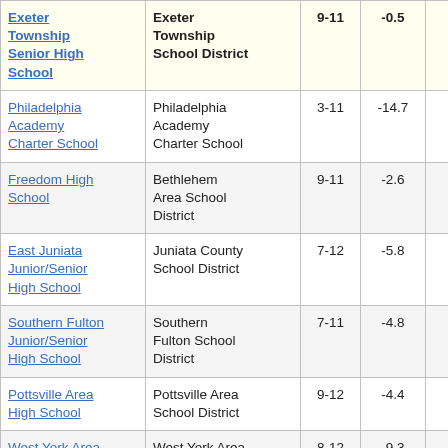| School | District | Grades | Value |  |
| --- | --- | --- | --- | --- |
| Exeter Township Senior High School | Exeter Township School District | 9-11 | -0.5 |  |
| Philadelphia Academy Charter School | Philadelphia Academy Charter School | 3-11 | -14.7 |  |
| Freedom High School | Bethlehem Area School District | 9-11 | -2.6 |  |
| East Juniata Junior/Senior High School | Juniata County School District | 7-12 | -5.8 |  |
| Southern Fulton Junior/Senior High School | Southern Fulton School District | 7-11 | -4.8 |  |
| Pottsville Area High School | Pottsville Area School District | 9-12 | -4.4 |  |
| West York Area High School | West York Area School District | 8-12 | -9.3 |  |